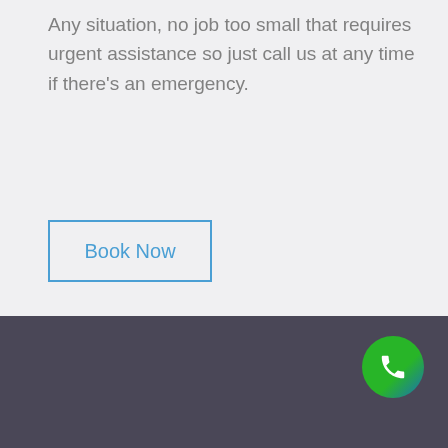Any situation, no job too small that requires urgent assistance so just call us at any time if there's an emergency.
Book Now
[Figure (illustration): Green circle phone call button with white phone handset icon]
Locksmith Karrinyup –